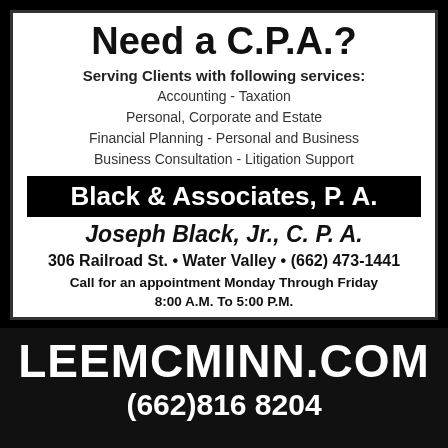Need a C.P.A.?
Serving Clients with following services:
Accounting - Taxation
Personal, Corporate and Estate
Financial Planning - Personal and Business
Business Consultation - Litigation Support
Black & Associates, P. A.
Joseph Black, Jr., C. P. A.
306 Railroad St. • Water Valley • (662) 473-1441
Call for an appointment Monday Through Friday 8:00 A.M. To 5:00 P.M.
[Figure (infographic): LeeMcMinn.com advertisement with phone number (662) 816 8204 on dark background]